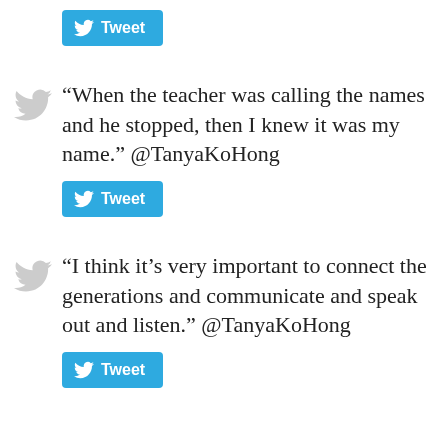[Figure (other): Tweet button at top of page (partially visible)]
“When the teacher was calling the names and he stopped, then I knew it was my name.” @TanyaKoHong
[Figure (other): Tweet button below first quote]
“I think it’s very important to connect the generations and communicate and speak out and listen.” @TanyaKoHong
[Figure (other): Tweet button below second quote (partially visible)]